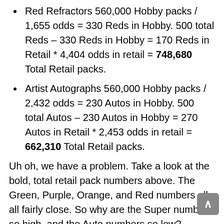Red Refractors 560,000 Hobby packs / 1,655 odds = 330 Reds in Hobby. 500 total Reds – 330 Reds in Hobby = 170 Reds in Retail * 4,404 odds in retail = 748,680 Total Retail packs.
Artist Autographs 560,000 Hobby packs / 2,432 odds = 230 Autos in Hobby. 500 total Autos – 230 Autos in Hobby = 270 Autos in Retail * 2,453 odds in retail = 662,310 Total Retail packs.
Uh oh, we have a problem. Take a look at the bold, total retail pack numbers above. The Green, Purple, Orange, and Red numbers all all fairly close. So why are the Super numbers so high, and the Auto numbers so low? Honestly, I have no idea. That's too big of a different to just be rounding. The odds have to be off somewhere by Topps. So what number should we use for retail packs? I'd feel comfortable using something in the 700k range since the majority of parallels came